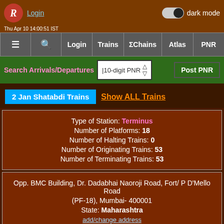Login | dark mode | ≡ 🔍 Login Trains ΣChains Atlas PNR
Search Arrivals/Departures | 10-digit PNR | Post PNR
2 Jan Shatabdi Trains | Show ALL Trains
Type of Station: Terminus
Number of Platforms: 18
Number of Halting Trains: 0
Number of Originating Trains: 53
Number of Terminating Trains: 53
Opp. BMC Building, Dr. Dadabhai Naoroji Road, Fort/ P D'Mello Road (PF-18), Mumbai- 400001
State: Maharashtra
add/change address
Zone: CR/Central
Division: Mumbai CSM Terminus